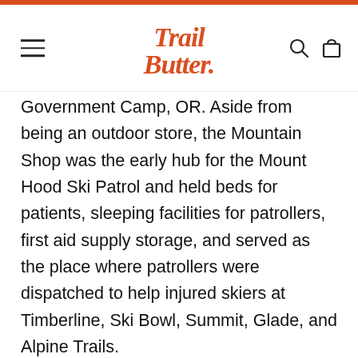Trail Butter (logo header with hamburger menu, search, and cart icons)
Government Camp, OR. Aside from being an outdoor store, the Mountain Shop was the early hub for the Mount Hood Ski Patrol and held beds for patients, sleeping facilities for patrollers, first aid supply storage, and served as the place where patrollers were dispatched to help injured skiers at Timberline, Ski Bowl, Summit, Glade, and Alpine Trails.
Though we are now located in Downtown Portland, founder Everett Darr was heavily involved with helping to found and support one of the first Ski Patrol's in the country and...